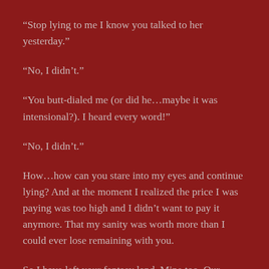“Stop lying to me I know you talked to her yesterday.”
“No, I didn’t.”
“You butt-dialed me (or did he…maybe it was intensional?). I heard every word!”
“No, I didn’t.”
How…how can you stare into my eyes and continue lying? And at the moment I realized the price I was paying was too high and I didn’t want to pay it anymore. That my sanity was worth more than I could ever lose remaining with you.
So I have left your fantasy land. Mine too. Our “trial”